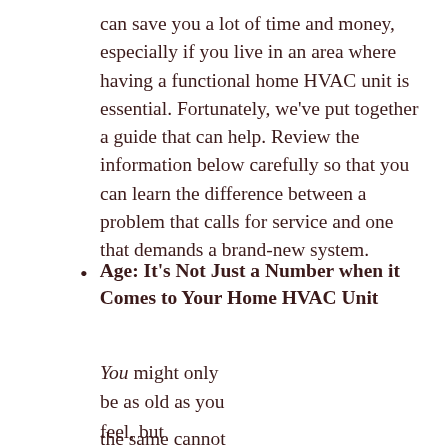can save you a lot of time and money, especially if you live in an area where having a functional home HVAC unit is essential. Fortunately, we've put together a guide that can help. Review the information below carefully so that you can learn the difference between a problem that calls for service and one that demands a brand-new system.
Age: It's Not Just a Number when it Comes to Your Home HVAC Unit
You might only be as old as you feel, but unfortunately the same cannot